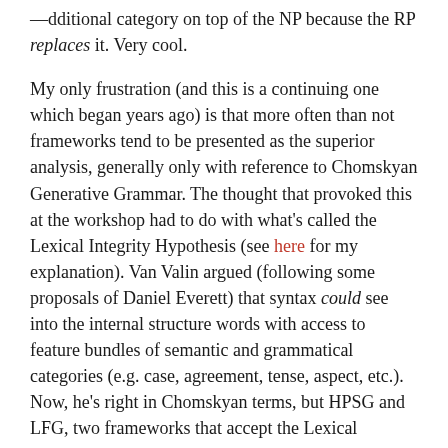additional category on top of the NP because the RP replaces it. Very cool.
My only frustration (and this is a continuing one which began years ago) is that more often than not frameworks tend to be presented as the superior analysis, generally only with reference to Chomskyan Generative Grammar. The thought that provoked this at the workshop had to do with what's called the Lexical Integrity Hypothesis (see here for my explanation). Van Valin argued (following some proposals of Daniel Everett) that syntax could see into the internal structure words with access to feature bundles of semantic and grammatical categories (e.g. case, agreement, tense, aspect, etc.). Now, he's right in Chomskyan terms, but HPSG and LFG, two frameworks that accept the Lexical Integrity Hypothesis, essentially do the same thing with their attributive value feature structures.
Anyway, sometimes I wish frameworks could do more